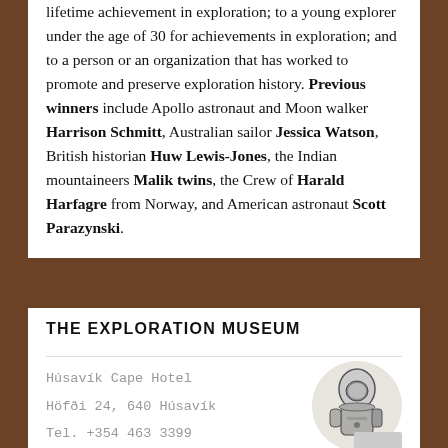lifetime achievement in exploration; to a young explorer under the age of 30 for achievements in exploration; and to a person or an organization that has worked to promote and preserve exploration history. Previous winners include Apollo astronaut and Moon walker Harrison Schmitt, Australian sailor Jessica Watson, British historian Huw Lewis-Jones, the Indian mountaineers Malik twins, the Crew of Harald Harfagre from Norway, and American astronaut Scott Parazynski.
THE EXPLORATION MUSEUM
Húsavík Cape Hotel
Höfði 24, 640 Húsavík
Tel. +354 463 3399
info@explorationmuseum.com
[Figure (illustration): Circular logo of The Exploration Museum showing a black and white illustration of a person in explorer gear]